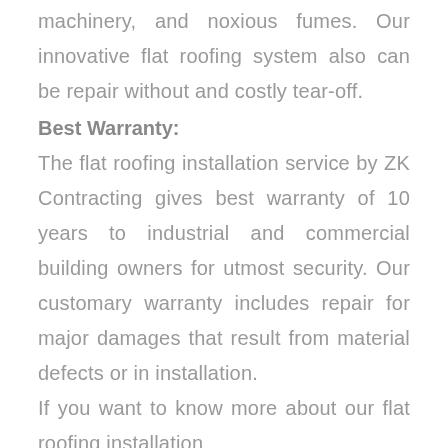machinery, and noxious fumes. Our innovative flat roofing system also can be repair without and costly tear-off.
Best Warranty:
The flat roofing installation service by ZK Contracting gives best warranty of 10 years to industrial and commercial building owners for utmost security. Our customary warranty includes repair for major damages that result from material defects or in installation.
If you want to know more about our flat roofing installation